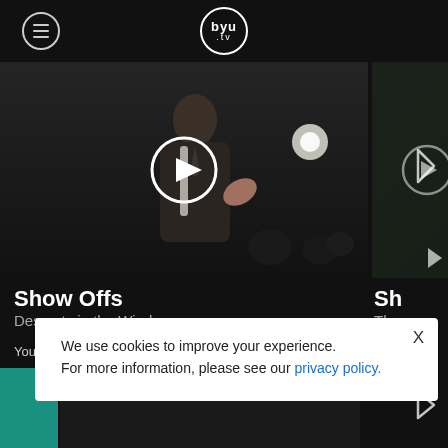BYU tv
[Figure (screenshot): Video thumbnail showing a dark scene with a person gesturing, with a white play button circle overlay in the center]
Show Offs
Desserts in the Wind
You May Also Enjoy
We use cookies to improve your experience.
For more information, please see our privacy policy.